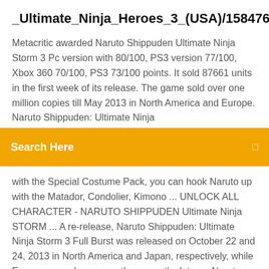_Ultimate_Ninja_Heroes_3_(USA)/158476
Metacritic awarded Naruto Shippuden Ultimate Ninja Storm 3 Pc version with 80/100, PS3 version 77/100, Xbox 360 70/100, PS3 73/100 points. It sold 87661 units in the first week of its release. The game sold over one million copies till May 2013 in North America and Europe. Naruto Shippuden: Ultimate Ninja
Search Here
with the Special Costume Pack, you can hook Naruto up with the Matador, Condolier, Kimono ... UNLOCK ALL CHARACTER - NARUTO SHIPPUDEN Ultimate Ninja STORM ... A re-release, Naruto Shippuden: Ultimate Ninja Storm 3 Full Burst was released on October 22 and 24, 2013 in North America and Japan, respectively, while Europe saw release over three months later ... Naruto Shippuden Ultimate Ninja Impact STORM 4 PSP/PC ... Son Goku Bulma Kame-Sennin Yamcha Kuririn Tenshinhan Piccolo God Son Gohan Vegeta Trunks